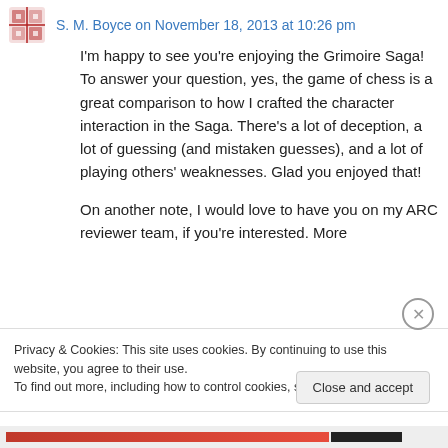S. M. Boyce on November 18, 2013 at 10:26 pm
I'm happy to see you're enjoying the Grimoire Saga! To answer your question, yes, the game of chess is a great comparison to how I crafted the character interaction in the Saga. There's a lot of deception, a lot of guessing (and mistaken guesses), and a lot of playing others' weaknesses. Glad you enjoyed that!
On another note, I would love to have you on my ARC reviewer team, if you're interested. More
Privacy & Cookies: This site uses cookies. By continuing to use this website, you agree to their use.
To find out more, including how to control cookies, see here: Cookie Policy